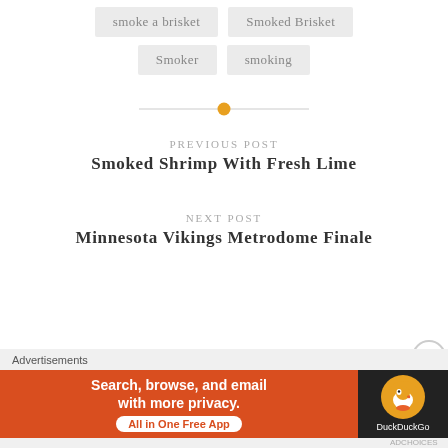smoke a brisket
Smoked Brisket
Smoker
smoking
PREVIOUS POST
Smoked Shrimp With Fresh Lime
NEXT POST
Minnesota Vikings Metrodome Finale
Advertisements
[Figure (screenshot): DuckDuckGo advertisement banner: orange section with text 'Search, browse, and email with more privacy.' and 'All in One Free App', dark section with DuckDuckGo duck logo]